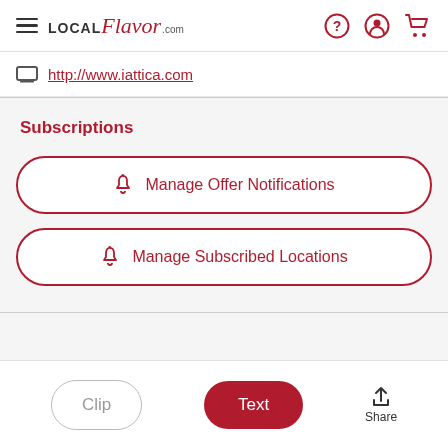LOCAL Flavor.com
http://www.iattica.com
Subscriptions
🔔 Manage Offer Notifications
🔔 Manage Subscribed Locations
Clip  Text  Share